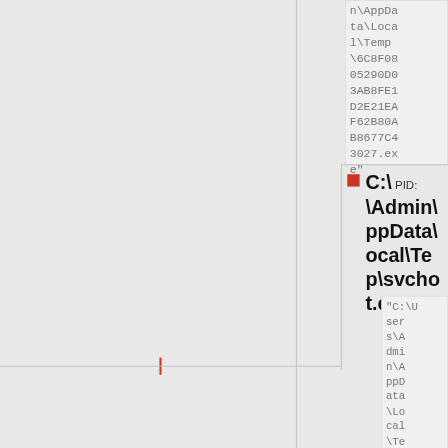n\AppData\Local\Temp\6C8F0805290D03AB8FE1D2E21EAF62B80AB8677C43027.exe"
C:\ [PID:...] \Admin\AppData\Local\Temp\svchost.exe
"C:\Users\Admin\AppData\Local\Temp...